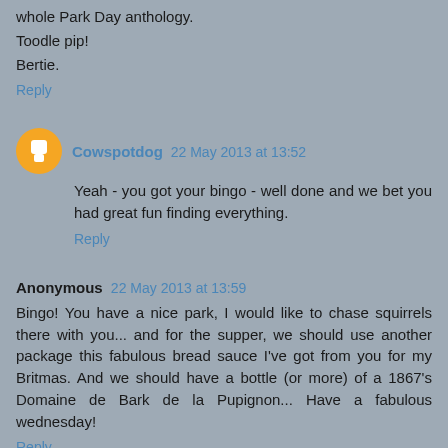whole Park Day anthology.
Toodle pip!
Bertie.
Reply
Cowspotdog 22 May 2013 at 13:52
Yeah - you got your bingo - well done and we bet you had great fun finding everything.
Reply
Anonymous 22 May 2013 at 13:59
Bingo! You have a nice park, I would like to chase squirrels there with you... and for the supper, we should use another package this fabulous bread sauce I've got from you for my Britmas. And we should have a bottle (or more) of a 1867's Domaine de Bark de la Pupignon... Have a fabulous wednesday!
Reply